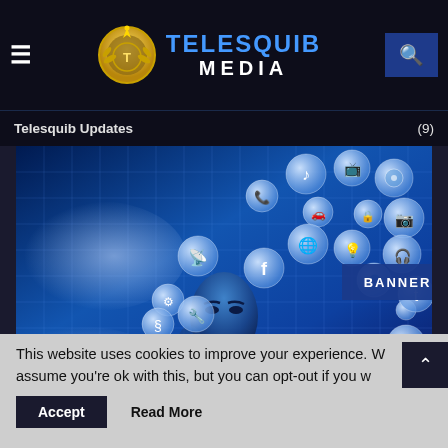TELESQUIB MEDIA
Telesquib Updates (9)
[Figure (screenshot): Blue-toned digital illustration of a woman's face surrounded by floating social media and technology icon spheres (music, TV, camera, Facebook, globe, headphones, search, etc.) against a grid/cloud background, with a 'BANNER POST' label overlaid in the center.]
This website uses cookies to improve your experience. We assume you're ok with this, but you can opt-out if you wish.
Accept   Read More